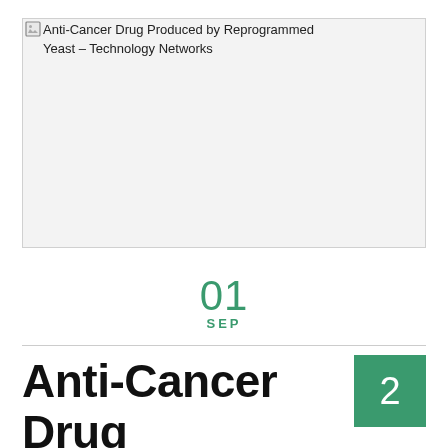[Figure (photo): Broken/unloaded image placeholder with alt text: Anti-Cancer Drug Produced by Reprogrammed Yeast – Technology Networks]
01
SEP
Anti-Cancer Drug Produced by Reprogrammed Yeast
2